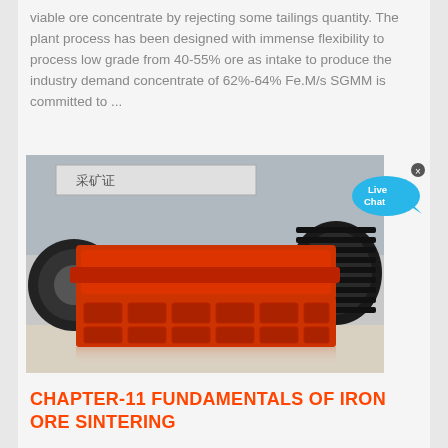viable ore concentrate by rejecting some tailings quantity. The plant process has been designed with immense flexibility to process low grade from 40-55% ore as intake to produce the industry demand concentrate of 62%-64% Fe.M/s SGMM is committed to ...
[Figure (photo): Industrial mining/crushing machine with large orange housing and black circular wheels/rollers on either side, photographed outdoors with Chinese text visible on a sign in the background.]
CHAPTER-11 FUNDAMENTALS OF IRON ORE SINTERING